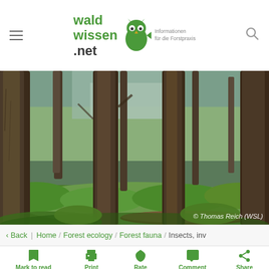waldwissen.net – Informationen für die Forstpraxis
[Figure (photo): Forest interior showing tall spruce/fir tree trunks with green mossy undergrowth, ferns, and shrubs. Photo credit: © Thomas Reich (WSL)]
© Thomas Reich (WSL)
‹ Back | Home / Forest ecology / Forest fauna / Insects, inv
Mark to read later   Print   Rate   Comment   Share